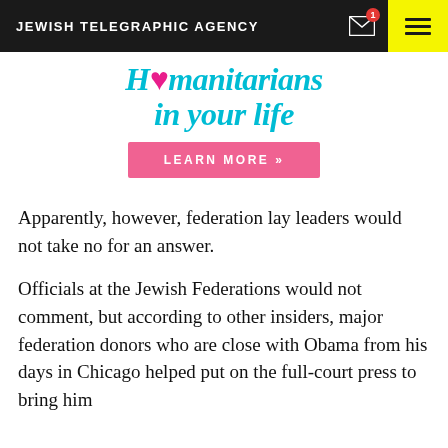JEWISH TELEGRAPHIC AGENCY
[Figure (illustration): Advertisement banner with teal italic text reading 'humanitarian(s) in your life' with a pink heart icon, and a pink 'LEARN MORE »' button]
Apparently, however, federation lay leaders would not take no for an answer.
Officials at the Jewish Federations would not comment, but according to other insiders, major federation donors who are close with Obama from his days in Chicago helped put on the full-court press to bring him